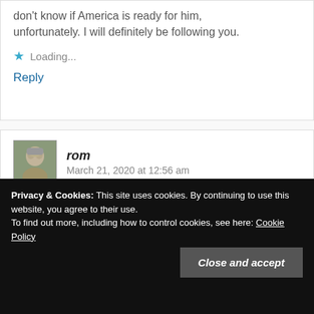don't know if America is ready for him, unfortunately. I will definitely be following you.
Loading...
Reply
rom  March 21, 2020 at 12:56 am
I can't help but think of many of these types of conundrums through the lens of the free will debate.
Privacy & Cookies: This site uses cookies. By continuing to use this website, you agree to their use.
To find out more, including how to control cookies, see here: Cookie Policy
Close and accept
If we do have free will, then people will have to